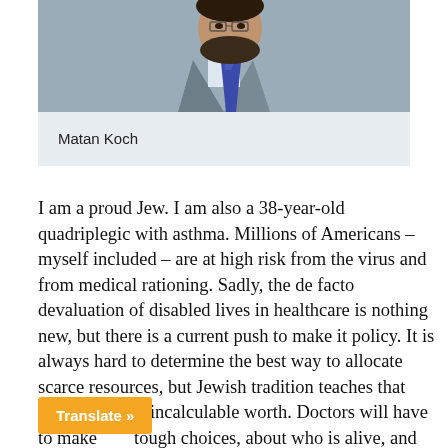[Figure (photo): Photo of Matan Koch, a man wearing a suit and blue tie, cropped to show upper body and face with beard]
Matan Koch
I am a proud Jew. I am also a 38-year-old quadriplegic with asthma. Millions of Americans – myself included – are at high risk from the virus and from medical rationing. Sadly, the de facto devaluation of disabled lives in healthcare is nothing new, but there is a current push to make it policy. It is always hard to determine the best way to allocate scarce resources, but Jewish tradition teaches that every life is of incalculable worth. Doctors will have to make tough choices, about who is [alive], and already will have to